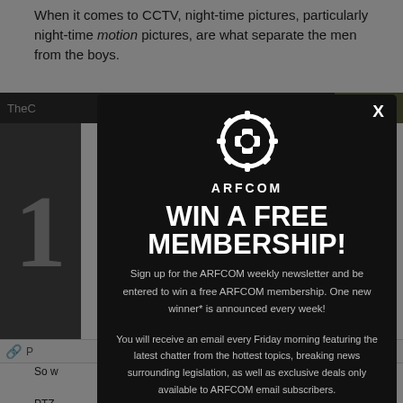When it comes to CCTV, night-time pictures, particularly night-time motion pictures, are what separate the men from the boys.
[Figure (screenshot): ARFCOM modal overlay popup on a website. Contains ARFCOM gear logo, text 'WIN A FREE MEMBERSHIP!', sign-up newsletter description, and an email input field. Background shows partial website content with a dark navigation bar with 'USA', a large numeral '1', and body text about PTZ cameras and fixed cameras.]